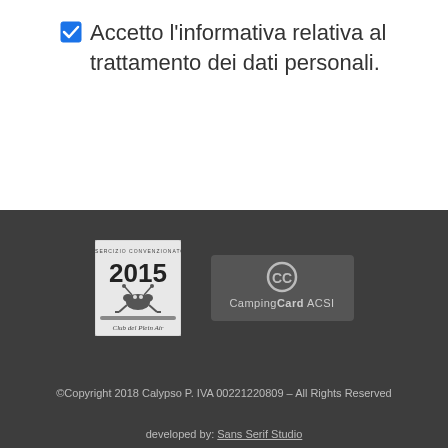☑ Accetto l'informativa relativa al trattamento dei dati personali.
[Figure (logo): Club del Plein Air 2015 ACSI convenzionato logo badge]
[Figure (logo): CampingCard ACSI logo on dark background]
©Copyright 2018 Calypso P. IVA 00221220809 – All Rights Reserved
developed by: Sans Serif Studio